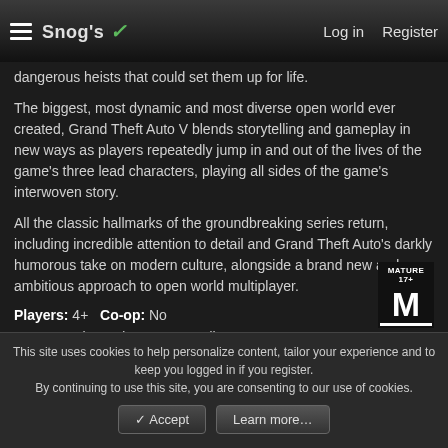Snog's | Log in | Register
dangerous heists that could set them up for life.
The biggest, most dynamic and most diverse open world ever created, Grand Theft Auto V blends storytelling and gameplay in new ways as players repeatedly jump in and out of the lives of the game's three lead characters, playing all sides of the game's interwoven story.
All the classic hallmarks of the groundbreaking series return, including incredible attention to detail and Grand Theft Auto's darkly humorous take on modern culture, alongside a brand new and ambitious approach to open world multiplayer.
Players: 4+   Co-op: No
[Figure (other): ESRB Mature 17+ rating badge]
Genre: Action, Adventure, Sandbox
This site uses cookies to help personalize content, tailor your experience and to keep you logged in if you register. By continuing to use this site, you are consenting to our use of cookies.